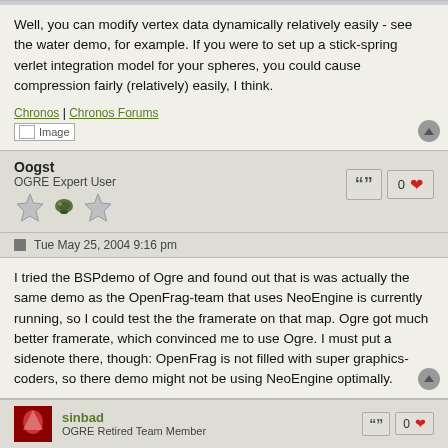Well, you can modify vertex data dynamically relatively easily - see the water demo, for example. If you were to set up a stick-spring verlet integration model for your spheres, you could cause compression fairly (relatively) easily, I think.
Chronos | Chronos Forums
Oogst
OGRE Expert User
Tue May 25, 2004 9:16 pm
I tried the BSPdemo of Ogre and found out that is was actually the same demo as the OpenFrag-team that uses NeoEngine is currently running, so I could test the the framerate on that map. Ogre got much better framerate, which convinced me to use Ogre. I must put a sidenote there, though: OpenFrag is not filled with super graphics-coders, so there demo might not be using NeoEngine optimally.
sinbad
OGRE Retired Team Member